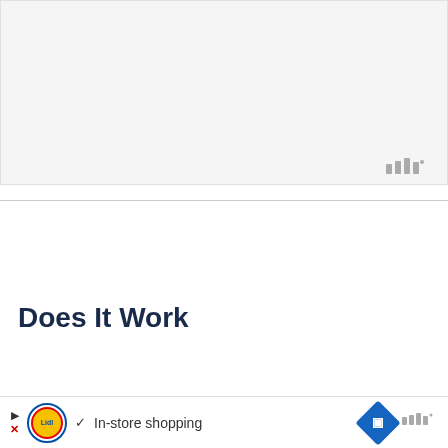[Figure (screenshot): Light gray placeholder/ad box at top of page with watermark logo in bottom-right corner]
[Figure (screenshot): Article UI with heart/like button (14 likes), share button, article title 'Does It Work', What's Next panel showing 'What is Negative...' with thumbnail, and article body text beginning 'Consistency is critical for positi... punishments to be effective ways to de...pan...be']
Does It Work
Consistency is critical for positi... punishments to be effective ways to de...pan...be
[Figure (screenshot): Bottom ad bar: Lidl ad with play/close buttons, checkmark, 'In-store shopping' text, navigation icon, and watermark logo]